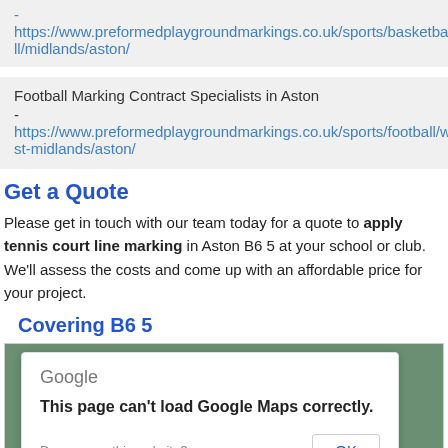- https://www.preformedplaygroundmarkings.co.uk/sports/basketball/midlands/aston/
Football Marking Contract Specialists in Aston
- https://www.preformedplaygroundmarkings.co.uk/sports/football/west-midlands/aston/
Get a Quote
Please get in touch with our team today for a quote to apply tennis court line marking in Aston B6 5 at your school or club. We'll assess the costs and come up with an affordable price for your project.
Covering B6 5
[Figure (screenshot): Google Maps error dialog: 'This page can't load Google Maps correctly.' with an OK button, overlaid on a map background.]